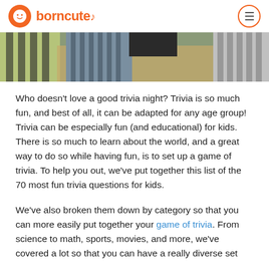borncute
[Figure (photo): Cropped photo showing children sitting around a table, viewed from above, wearing striped and patterned shirts.]
Who doesn’t love a good trivia night? Trivia is so much fun, and best of all, it can be adapted for any age group! Trivia can be especially fun (and educational) for kids. There is so much to learn about the world, and a great way to do so while having fun, is to set up a game of trivia. To help you out, we’ve put together this list of the 70 most fun trivia questions for kids.
We’ve also broken them down by category so that you can more easily put together your game of trivia. From science to math, sports, movies, and more, we’ve covered a lot so that you can have a really diverse set